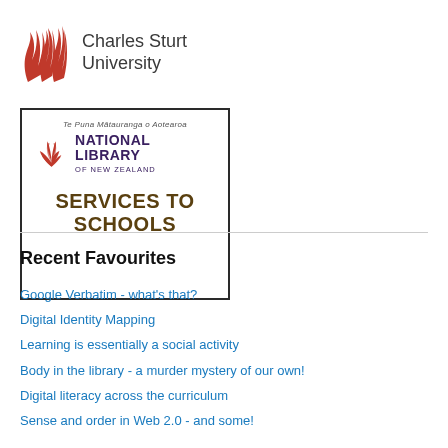[Figure (logo): Charles Sturt University logo with red flame icon and university name]
[Figure (logo): National Library of New Zealand Services to Schools logo in a bordered box]
Recent Favourites
Google Verbatim - what's that?
Digital Identity Mapping
Learning is essentially a social activity
Body in the library - a murder mystery of our own!
Digital literacy across the curriculum
Sense and order in Web 2.0 - and some!